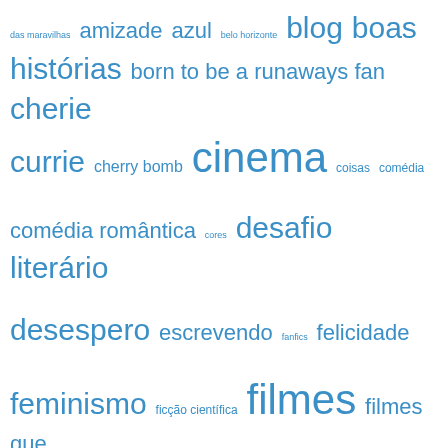[Figure (infographic): Tag cloud in blue showing Portuguese blog topic tags of varying sizes indicating frequency/importance: das maravilhas, amizade, azul, belo horizonte, blog, boas histórias, born to be a runaways fan, cherie currie, cherry bomb, cinema, coisas, comédia, comédia romântica, cores, desafio literário, desespero, escrevendo, fanfics, felicidade, feminismo, ficção científica, filmes, filmes que recomendo, filmes sensíveis, filosofia de blog, fim de ano, flashback, futebol, harry potter, internet, j.k.rowling, jackie fox, joan jett, jogos vorazes, john green, joão doria, jr., listas, lita ford, literatura, livros, livros incríveis]